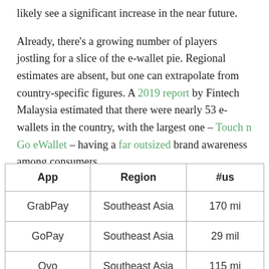likely see a significant increase in the near future.
Already, there's a growing number of players jostling for a slice of the e-wallet pie. Regional estimates are absent, but one can extrapolate from country-specific figures. A 2019 report by Fintech Malaysia estimated that there were nearly 53 e-wallets in the country, with the largest one – Touch n Go eWallet – having a far outsized brand awareness among consumers.
| App | Region | #us |
| --- | --- | --- |
| GrabPay | Southeast Asia | 170 mi |
| GoPay | Southeast Asia | 29 mil |
| Ovo | Southeast Asia | 115 mi |